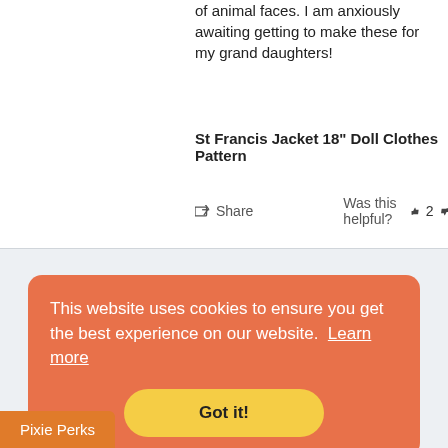of animal faces. I am anxiously awaiting getting to make these for my grand daughters!
St Francis Jacket 18" Doll Clothes Pattern
Share   Was this helpful?  2  0
Join Our List & Stay Connected!
This website uses cookies to ensure you get the best experience on our website. Learn more
Got it!
Pixie Perks